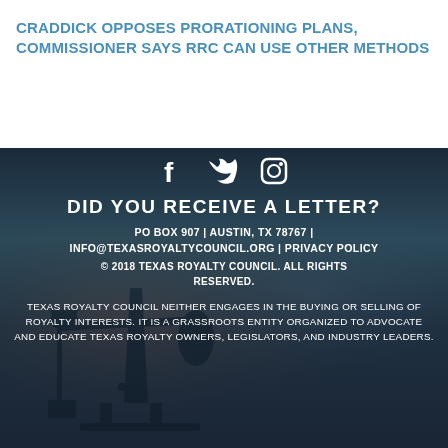CRADDICK OPPOSES PRORATIONING PLANS, COMMISSIONER SAYS RRC CAN USE OTHER METHODS
[Figure (illustration): Social media icons: Facebook, Twitter, Instagram in white on dark blue background with oil pumpjack silhouette]
DID YOU RECEIVE A LETTER?
PO BOX 907 | AUSTIN, TX 78767 | INFO@TEXASROYALTYCOUNCIL.ORG | PRIVACY POLICY
© 2018 TEXAS ROYALTY COUNCIL. ALL RIGHTS RESERVED.
TEXAS ROYALTY COUNCIL NEITHER ENGAGES IN THE BUYING OR SELLING OF ROYALTY INTERESTS. IT IS A GRASSROOTS ENTITY ORGANIZED TO ADVOCATE AND EDUCATE TEXAS ROYALTY OWNERS, LEGISLATORS, AND INDUSTRY LEADERS.